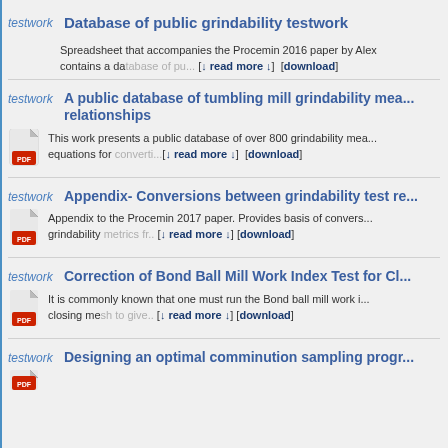testwork — Database of public grindability testwork. Spreadsheet that accompanies the Procemin 2016 paper by Alex... contains a database of pu... [↓ read more ↓] [download]
testwork — A public database of tumbling mill grindability measurements and relationships. This work presents a public database of over 800 grindability mea... equations for converti...[↓ read more ↓] [download]
testwork — Appendix- Conversions between grindability test re... Appendix to the Procemin 2017 paper. Provides basis of convers... grindability metrics fr.. [↓ read more ↓] [download]
testwork — Correction of Bond Ball Mill Work Index Test for Cl... It is commonly known that one must run the Bond ball mill work i... closing mesh to give.. [↓ read more ↓] [download]
testwork — Designing an optimal comminution sampling progr...